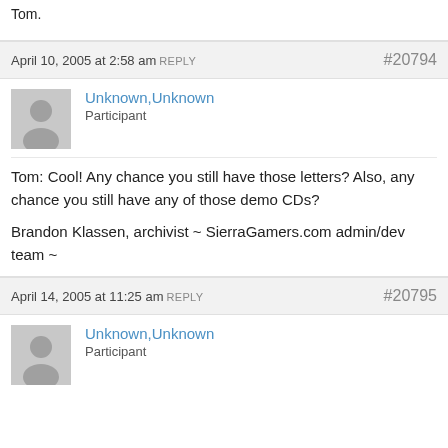Tom.
April 10, 2005 at 2:58 am REPLY #20794
Unknown,Unknown
Participant
Tom: Cool! Any chance you still have those letters? Also, any chance you still have any of those demo CDs?

Brandon Klassen, archivist ~ SierraGamers.com admin/dev team ~
April 14, 2005 at 11:25 am REPLY #20795
Unknown,Unknown
Participant